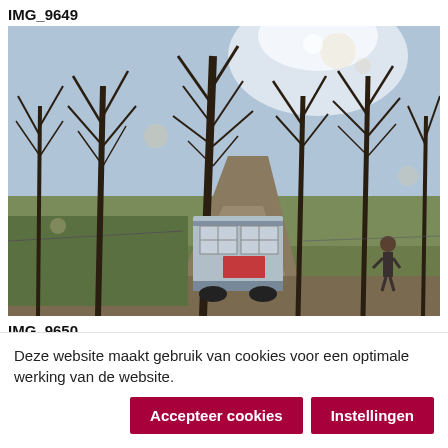IMG_9649
[Figure (photo): A van driving on a muddy dirt track lined with bare winter trees, with a person standing nearby and open green fields in the background under a bright sky.]
IMG_9650
[Figure (photo): Partial view of a second photo showing dense vegetation/undergrowth, partially obscured by cookie consent bar.]
Deze website maakt gebruik van cookies voor een optimale werking van de website.
Accepteer cookies
Instellingen